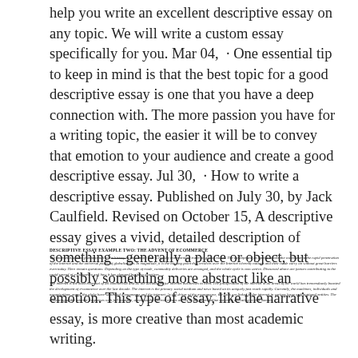help you write an excellent descriptive essay on any topic. We will write a custom essay specifically for you. Mar 04,  · One essential tip to keep in mind is that the best topic for a good descriptive essay is one that you have a deep connection with. The more passion you have for a writing topic, the easier it will be to convey that emotion to your audience and create a good descriptive essay. Jul 30,  · How to write a descriptive essay. Published on July 30, by Jack Caulfield. Revised on October 15, A descriptive essay gives a vivid, detailed description of something—generally a place or object, but possibly something more abstract like an emotion. This type of essay, like the narrative essay, is more creative than most academic writing.
DESCRIPTIVE ESSAY EXAMPLE TWO: THE ADVENT OF ECOMMERCE
The internet is a mass phenomenon in the history of the century that is rapidly transforming trade on global routes. The concept and its spread across the world due to the rapid penetration of the internet and the universal policy of globalization. In magnitude, it is the binding point that revolves over the Internet whereby nations and their trade carry on without great barriers even today. Here remain questions: Depending on the type of trade, commodity deliveries are arranged, and the whole cycle is now active. Discussed above are factors contributing to the rapid spread of e-commerce and how it has changed business practices.
The internet is the most essential of all commercial and all the advantages for internet businesses to meet. The proliferation of the internet in all areas of the world has tremendously boosted the development of e-commerce over the last decade. The internet is the primary social medium and news based on its uniquely fast reach rapidly. Currently, the machines, individuals and organizations across the globe have witnessed e-commerce and the internet. As the driver of the e-commerce, the facts are linked to the internet in various large multinational entities. The remaining of the internet, responses with full measure, access to the internet means access to the forces online currently operating in that domain.